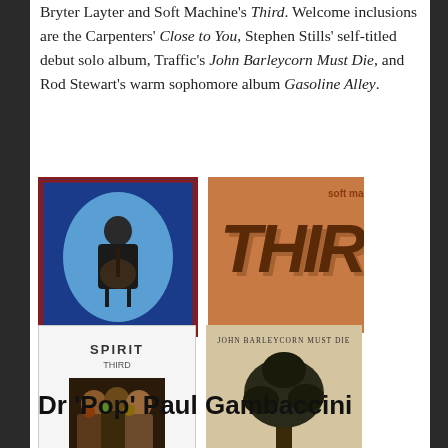Bryter Layter and Soft Machine's Third. Welcome inclusions are the Carpenters' Close to You, Stephen Stills' self-titled debut solo album, Traffic's John Barleycorn Must Die, and Rod Stewart's warm sophomore album Gasoline Alley.
[Figure (photo): Album cover: Stephen Stills seated with guitar, blue oval portrait on dark background]
[Figure (photo): Album cover: Soft Machine 'Third' in bold stylized typography on orange/tan background]
[Figure (photo): Album cover: Spirit 'Third' white cover with group photo]
[Figure (photo): Album cover: Traffic 'John Barleycorn Must Die' with tree illustration on tan/beige background]
Dr 'Pop' Paul Gambaccini